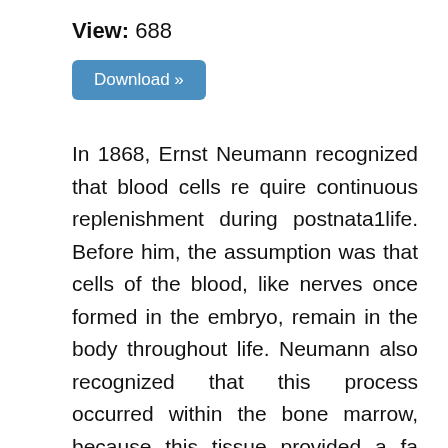View: 688
[Figure (other): Download button with blue background and white text reading 'Download »']
In 1868, Ernst Neumann recognized that blood cells re quire continuous replenishment during postnata1life. Before him, the assumption was that cells of the blood, like nerves once formed in the embryo, remain in the body throughout life. Neumann also recognized that this process occurred within the bone marrow, because this tissue provided a fa vorable environment for proliferation and differentiation of blood cell precursors. Vera Danchakoff, the Russian embryologist working in the US, in 1916 made an analogy to the soil and the seed. Bone marrow forms the soil,